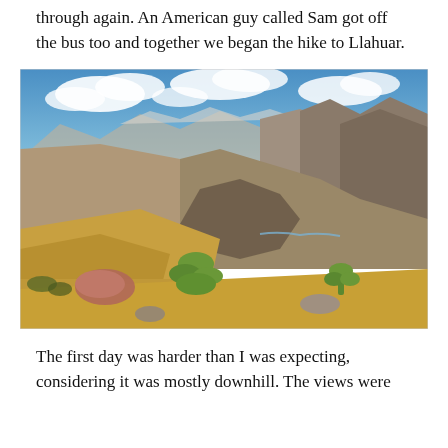through again. An American guy called Sam got off the bus too and together we began the hike to Llahuar.
[Figure (photo): Panoramic mountain landscape showing a deep canyon with rocky slopes, dry grass and cactus in the foreground, a river visible far below in the valley, and a blue sky with white clouds above mountain peaks in the background. The scene appears to be in the Colca Canyon region of Peru.]
The first day was harder than I was expecting, considering it was mostly downhill. The views were